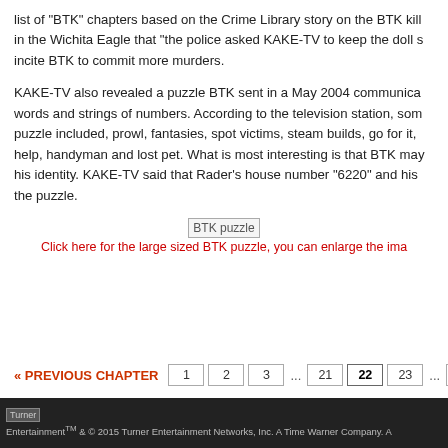list of "BTK" chapters based on the Crime Library story on the BTK kill in the Wichita Eagle that "the police asked KAKE-TV to keep the doll s incite BTK to commit more murders.
KAKE-TV also revealed a puzzle BTK sent in a May 2004 communica words and strings of numbers. According to the television station, som puzzle included, prowl, fantasies, spot victims, steam builds, go for it, help, handyman and lost pet. What is most interesting is that BTK may his identity. KAKE-TV said that Rader's house number "6220" and his the puzzle.
[Figure (photo): BTK puzzle image with alt text 'BTK puzzle']
Click here for the large sized BTK puzzle, you can enlarge the ima
« PREVIOUS CHAPTER   1  2  3  ...  21  22  23  ...  51  52